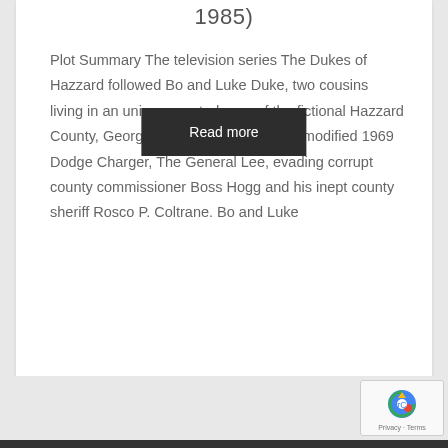1985)
Plot Summary The television series The Dukes of Hazzard followed Bo and Luke Duke, two cousins living in an unincorporated area of the fictional Hazzard County, Georgia, racing around in their modified 1969 Dodge Charger, The General Lee, evading corrupt county commissioner Boss Hogg and his inept county sheriff Rosco P. Coltrane. Bo and Luke
Read more
[Figure (logo): reCAPTCHA badge with Privacy and Terms text]